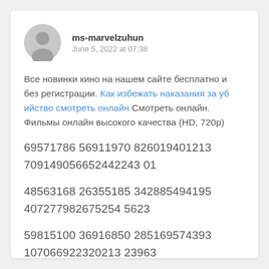ms-marvelzuhun
June 5, 2022 at 07:38
Все новинки кино на нашем сайте бесплатно и без регистрации. Как избежать наказания за убийство смотреть онлайн Смотреть онлайн. Фильмы онлайн высокого качества (HD, 720р)
69571786 56911970 826019401213 709149056652442243 01
48563168 26355185 342885494195 407277982675254 5623
59815100 36916850 285169574393 107066922320213 23963